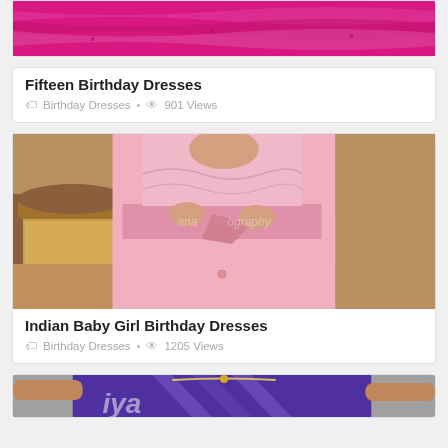[Figure (photo): Photo of a bright pink/magenta birthday dress, ruffled layers, partially visible]
Fifteen Birthday Dresses
Birthday Dresses • 901 Views
[Figure (photo): Photo of an Indian baby girl in a light pink traditional dress with pink sash, ornate golden/brown chair in background, watermark text visible]
Indian Baby Girl Birthday Dresses
Birthday Dresses • 1205 Views
[Figure (photo): Partial photo of a woman in a blue/purple embellished dress, partially visible at bottom of page]